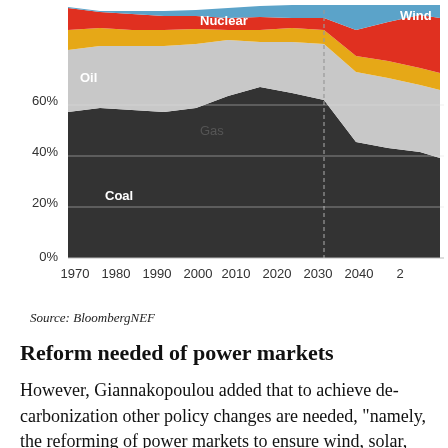[Figure (area-chart): Energy mix share over time]
Source: BloombergNEF
Reform needed of power markets
However, Giannakopoulou added that to achieve de-carbonization other policy changes are needed, “namely, the reforming of power markets to ensure wind, solar, and batteries are remunerated properly for their contribution to the grid